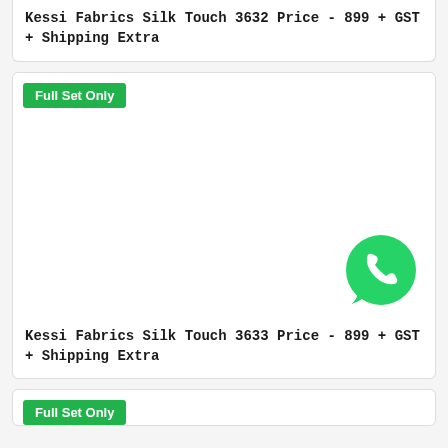Kessi Fabrics Silk Touch 3632 Price - 899 + GST + Shipping Extra
Full Set Only
[Figure (illustration): WhatsApp icon - green circle with white phone handset]
Kessi Fabrics Silk Touch 3633 Price - 899 + GST + Shipping Extra
Full Set Only